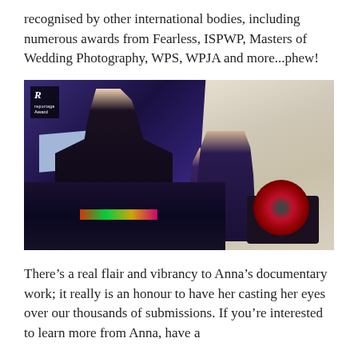recognised by other international bodies, including numerous awards from Fearless, ISPWP, Masters of Wedding Photography, WPS, WPJA and more...phew!
[Figure (photo): A wedding reception DJ scene: a man in a dark suit DJing at turntables with a laptop, a woman singing with a microphone raised above her head, and another person on the right with hands near their face. Stone wall background with purple/blue lighting. Reportage Award badge visible in top-left corner.]
There's a real flair and vibrancy to Anna's documentary work; it really is an honour to have her casting her eyes over our thousands of submissions. If you're interested to learn more from Anna, have a